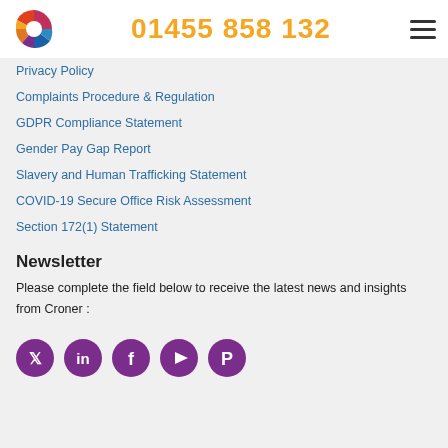01455 858 132
Privacy Policy
Complaints Procedure & Regulation
GDPR Compliance Statement
Gender Pay Gap Report
Slavery and Human Trafficking Statement
COVID-19 Secure Office Risk Assessment
Section 172(1) Statement
Newsletter
Please complete the field below to receive the latest news and insights from Croner :
[Figure (other): Social media icons: Twitter, LinkedIn, Facebook, YouTube, Pinterest — purple circular icons]